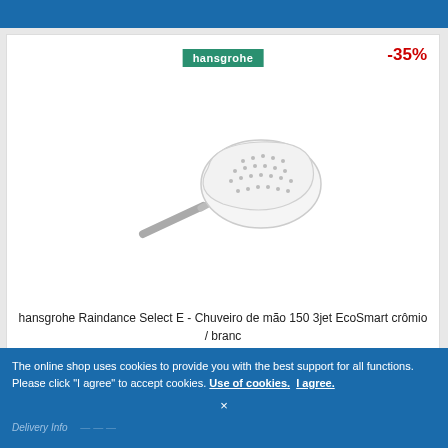[Figure (other): Blue top navigation bar strip]
[Figure (photo): Hansgrohe Raindance Select E handheld shower head, white with chrome handle, angled view on white background. Green hansgrohe brand logo in top center. Red -35% discount badge top right.]
hansgrohe Raindance Select E - Chuveiro de mão 150 3jet EcoSmart crômio / branc
The online shop uses cookies to provide you with the best support for all functions. Please click "I agree" to accept cookies. Use of cookies. I agree.
Delivery Info